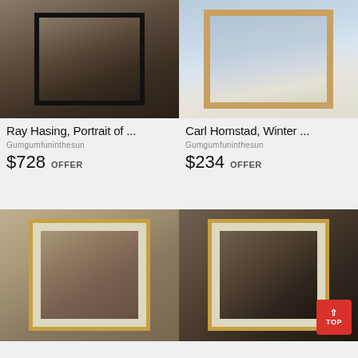[Figure (photo): Framed portrait drawing of a person in profile, dark tones, black frame]
Ray Hasing, Portrait of ...
Gumgumfuninthesun
$728 OFFER
[Figure (photo): Framed watercolor painting of a house in winter snow scene, wood frame]
Carl Homstad, Winter ...
Gumgumfuninthesun
$234 OFFER
[Figure (photo): Framed print of mother and child, gold frame with mat]
[Figure (photo): Framed portrait of bearded man, gold frame with mat, with red TOP button overlay]